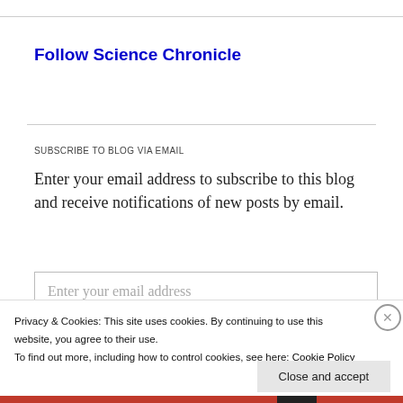Follow Science Chronicle
SUBSCRIBE TO BLOG VIA EMAIL
Enter your email address to subscribe to this blog and receive notifications of new posts by email.
Enter your email address
Privacy & Cookies: This site uses cookies. By continuing to use this website, you agree to their use.
To find out more, including how to control cookies, see here: Cookie Policy
Close and accept